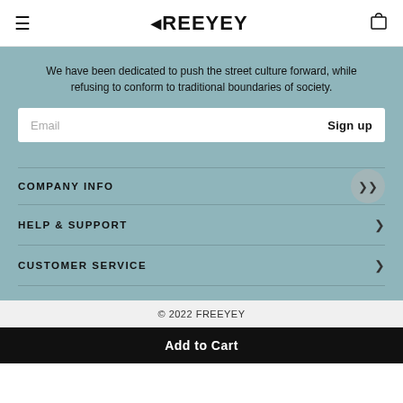FREEYEY
We have been dedicated to push the street culture forward, while refusing to conform to traditional boundaries of society.
Email  Sign up
COMPANY INFO
HELP & SUPPORT
CUSTOMER SERVICE
© 2022 FREEYEY
Add to Cart